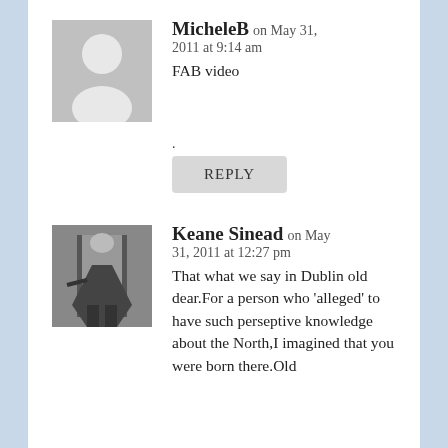MicheleB on May 31, 2011 at 9:14 am
FAB video
.
REPLY
Keane Sinead on May 31, 2011 at 12:27 pm
That what we say in Dublin old dear.For a person who 'alleged' to have such perseptive knowledge about the North,I imagined that you were born there.Old